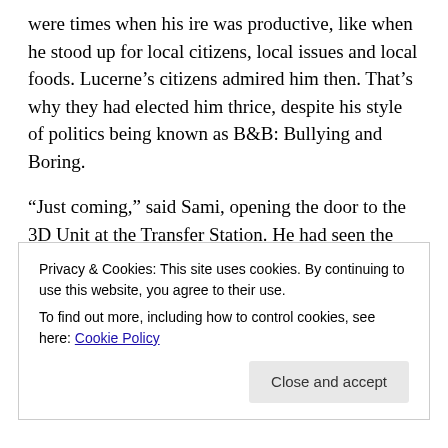were times when his ire was productive, like when he stood up for local citizens, local issues and local foods. Lucerne's citizens admired him then. That's why they had elected him thrice, despite his style of politics being known as B&B: Bullying and Boring.
“Just coming,” said Sami, opening the door to the 3D Unit at the Transfer Station. He had seen the mayor’s truck pull in, and the way he had stalked towards the container and banged the door. He was angry about something.
“Those models you made for me, they’re not the same
Privacy & Cookies: This site uses cookies. By continuing to use this website, you agree to their use.
To find out more, including how to control cookies, see here: Cookie Policy